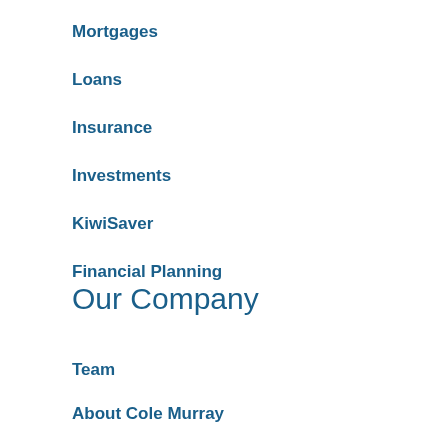Mortgages
Loans
Insurance
Investments
KiwiSaver
Financial Planning
Our Company
Team
About Cole Murray
Privacy Policy